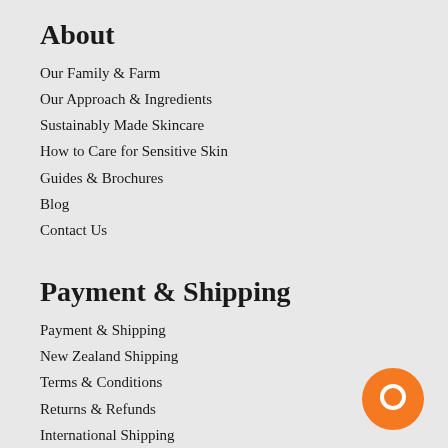About
Our Family & Farm
Our Approach & Ingredients
Sustainably Made Skincare
How to Care for Sensitive Skin
Guides & Brochures
Blog
Contact Us
Payment & Shipping
Payment & Shipping
New Zealand Shipping
Terms & Conditions
Returns & Refunds
International Shipping
About Zip Pay
About Afterpay
For Baby
100% Natural Nappy Cream
[Figure (illustration): Orange circular chat bubble icon in the bottom right corner]